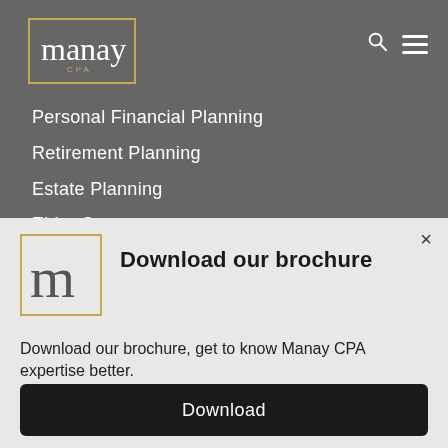[Figure (logo): Manay CPA logo in white script with gold border, top left of navigation bar]
Personal Financial Planning
Retirement Planning
Estate Planning
Elder Care
Wealth Management
Download our brochure
[Figure (logo): Manay CPA logo mark – cursive m in dark on light background with gold border]
Download our brochure, get to know Manay CPA expertise better.
Download